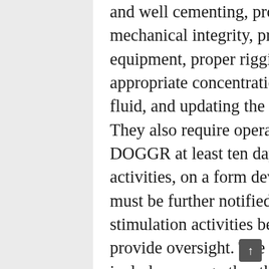and well cementing, production zone isolation, wellbore mechanical integrity, pressure testing of downhole equipment, proper rigging and testing of surface equipment, appropriate concentrations of well stimulation treatment fluid, and updating the operator's Spill Contingency Plan. They also require operators to provide written notification to DOGGR at least ten days in advance of well stimulation activities, on a form developed by DOGGR (pdf). DOGGR must be further notified at least 72 hours before well stimulation activities begin to allow an opportunity to provide oversight. The written notice to DOGGR must include, among other things, a complete list of the chemical constituents of the well stimulation fluid, a water management plan, a groundwater monitoring plan, and evidence that the operator has contracted with a third party